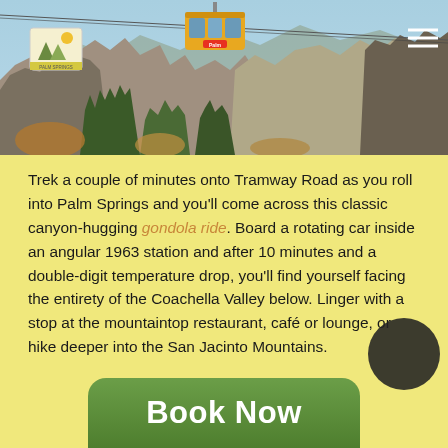[Figure (photo): Aerial tramway gondola car suspended on cables above a dramatic mountain canyon landscape with rocky cliffs, pine trees, and blue sky. Palm Springs Aerial Tramway.]
Trek a couple of minutes onto Tramway Road as you roll into Palm Springs and you'll come across this classic canyon-hugging gondola ride. Board a rotating car inside an angular 1963 station and after 10 minutes and a double-digit temperature drop, you'll find yourself facing the entirety of the Coachella Valley below. Linger with a stop at the mountaintop restaurant, café or lounge, or hike deeper into the San Jacinto Mountains.
Book Now